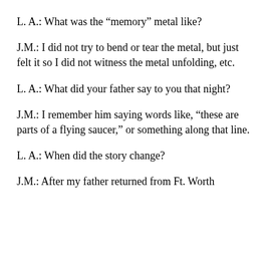L. A.: What was the “memory” metal like?
J.M.: I did not try to bend or tear the metal, but just felt it so I did not witness the metal unfolding, etc.
L. A.: What did your father say to you that night?
J.M.: I remember him saying words like, “these are parts of a flying saucer,” or something along that line.
L. A.: When did the story change?
J.M.: After my father returned from Ft. Worth